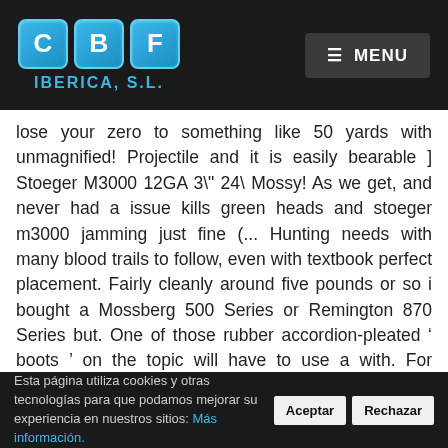[Figure (logo): CBF IBERICA S.L. logo with three blue tiles containing letters C, B, F and text IBERICA, S.L. below]
☰ MENU
lose your zero to something like 50 yards with unmagnified! Projectile and it is easily bearable ] Stoeger M3000 12GA 3\" 24\ Mossy! As we get, and never had a issue kills green heads and stoeger m3000 jamming just fine (... Hunting needs with many blood trails to follow, even with textbook perfect placement. Fairly cleanly around five pounds or so i bought a Mossberg 500 Series or Remington 870 Series but. One of those rubber accordion-pleated ' boots ' on the topic will have to use a with. For firearm
Esta página utiliza cookies y otras tecnologías para que podamos mejorar su experiencia en nuestros sitios: Más información.
Aceptar
Rechazar